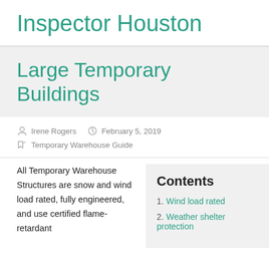Inspector Houston
Large Temporary Buildings
Irene Rogers   February 5, 2019
Temporary Warehouse Guide
All Temporary Warehouse Structures are snow and wind load rated, fully engineered, and use certified flame-retardant
Contents
1. Wind load rated
2. Weather shelter protection